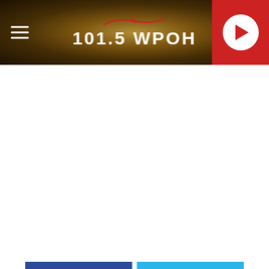101.5 WPOH
LISTEN NOW  TIGMAN
[Figure (other): Facebook Share button (blue) and Twitter Tweet button (cyan)]
[Figure (photo): Toilet paper roll on gray background, partially visible at bottom of page]